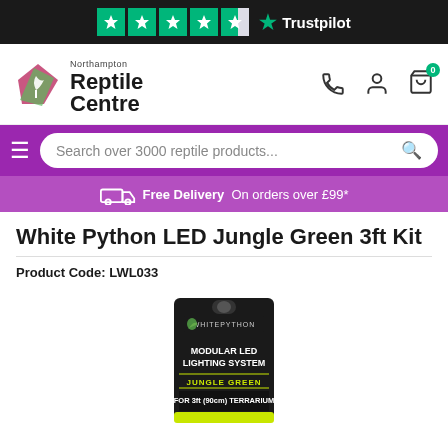[Figure (screenshot): Trustpilot rating bar with 4.5 stars and Trustpilot logo on dark background]
[Figure (logo): Northampton Reptile Centre logo with green/pink leaf icon and bold text]
Search over 3000 reptile products...
Free Delivery  On orders over £99*
White Python LED Jungle Green 3ft Kit
Product Code: LWL033
[Figure (photo): White Python Modular LED Lighting System Jungle Green product package for 3ft (90cm) Terrarium]